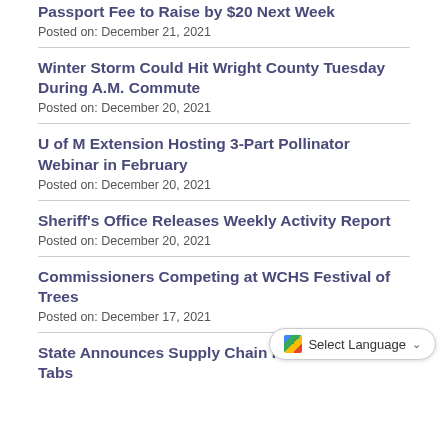Passport Fee to Raise by $20 Next Week
Posted on: December 21, 2021
Winter Storm Could Hit Wright County Tuesday During A.M. Commute
Posted on: December 20, 2021
U of M Extension Hosting 3-Part Pollinator Webinar in February
Posted on: December 20, 2021
Sheriff's Office Releases Weekly Activity Report
Posted on: December 20, 2021
Commissioners Competing at WCHS Festival of Trees
Posted on: December 17, 2021
State Announces Supply Chain Issue with License Tabs